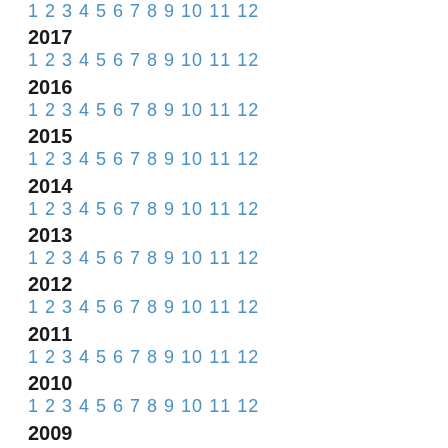1 2 3 4 5 6 7 8 9 10 11 12
2017
1 2 3 4 5 6 7 8 9 10 11 12
2016
1 2 3 4 5 6 7 8 9 10 11 12
2015
1 2 3 4 5 6 7 8 9 10 11 12
2014
1 2 3 4 5 6 7 8 9 10 11 12
2013
1 2 3 4 5 6 7 8 9 10 11 12
2012
1 2 3 4 5 6 7 8 9 10 11 12
2011
1 2 3 4 5 6 7 8 9 10 11 12
2010
1 2 3 4 5 6 7 8 9 10 11 12
2009
1 2 3 4 5 6 7 8 9 10 11 12
2008
1 2 3 4 5 6 7 8 9 10 11 12